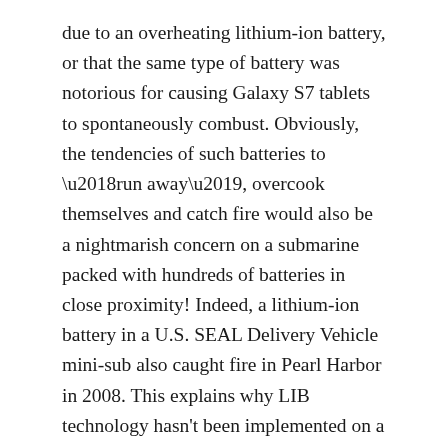due to an overheating lithium-ion battery, or that the same type of battery was notorious for causing Galaxy S7 tablets to spontaneously combust. Obviously, the tendencies of such batteries to ‘run away’, overcook themselves and catch fire would also be a nightmarish concern on a submarine packed with hundreds of batteries in close proximity! Indeed, a lithium-ion battery in a U.S. SEAL Delivery Vehicle mini-sub also caught fire in Pearl Harbor in 2008. This explains why LIB technology hasn’t been implemented on a large submarine sooner.
Recommended: What Will the Sixth-Generation Jet Fighter Look Like?